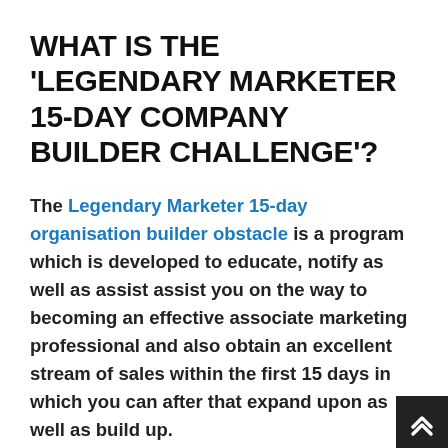WHAT IS THE 'LEGENDARY MARKETER 15-DAY COMPANY BUILDER CHALLENGE'?
The Legendary Marketer 15-day organisation builder obstacle is a program which is developed to educate, notify as well as assist assist you on the way to becoming an effective associate marketing professional and also obtain an excellent stream of sales within the first 15 days in which you can after that expand upon as well as build up.
We very recommend it to everyone that is interested in ending up being an associate marketing professional, even if you believe you already understand where to start, it will show you and also teach you things you never ever would